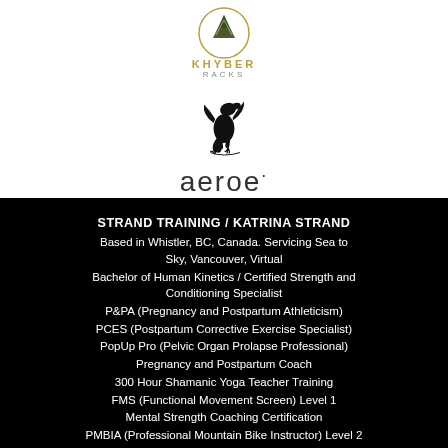[Figure (logo): Khyber Racks logo with mountain peak inside a circle and the text KHYBER RACKS below]
[Figure (logo): Dragon/heraldic creature logo in black ink style]
[Figure (logo): aeroe wordmark logo in lowercase with registered trademark dot]
STRAND TRAINING / KATRINA STRAND
Based in Whistler, BC, Canada. Servicing Sea to Sky, Vancouver, Virtual
Bachelor of Human Kinetics / Certified Strength and Conditioning Specialist
P&PA (Pregnancy and Postpartum Athleticism)
PCES (Postpartum Corrective Exercise Specialist)
PopUp Pro (Pelvic Organ Prolapse Professional)
Pregnancy and Postpartum Coach
300 Hour Shamanic Yoga Teacher Training
FMS (Functional Movement Screen) Level 1
Mental Strength Coaching Certification
PMBIA (Professional Mountain Bike Instructor) Level 2
PMBIA Youth Module